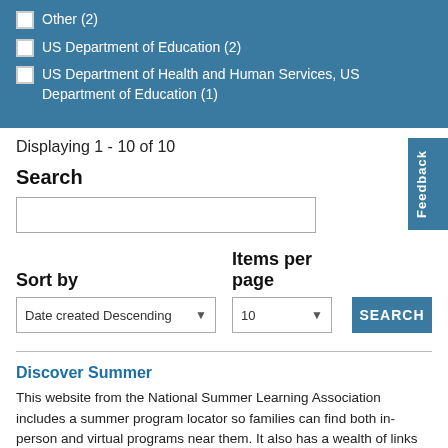Other (2)
US Department of Education (2)
US Department of Health and Human Services, US Department of Education (1)
Displaying 1 - 10 of 10
Search
Sort by
Items per page
Date created Descending
10
SEARCH
Feedback
Discover Summer
This website from the National Summer Learning Association includes a summer program locator so families can find both in-person and virtual programs near them. It also has a wealth of links to related resources such as summer meals, literacy and math activities, college and career